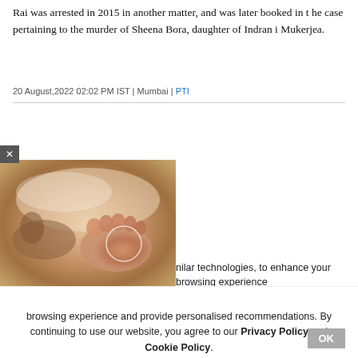Rai was arrested in 2015 in another matter, and was later booked in the case pertaining to the murder of Sheena Bora, daughter of Indrani Mukerjea.
20 August,2022 02:02 PM IST | Mumbai | PTI
[Figure (photo): Close-up photo of a newborn baby's feet on a soft surface]
nilar technologies, to enhance your browsing experience and provide personalised recommendations. By continuing to use our website, you agree to our Privacy Policy and Cookie Policy.